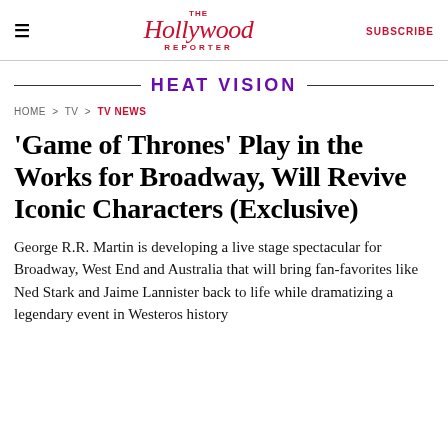The Hollywood Reporter | SUBSCRIBE
HEAT VISION
HOME > TV > TV NEWS
'Game of Thrones' Play in the Works for Broadway, Will Revive Iconic Characters (Exclusive)
George R.R. Martin is developing a live stage spectacular for Broadway, West End and Australia that will bring fan-favorites like Ned Stark and Jaime Lannister back to life while dramatizing a legendary event in Westeros history